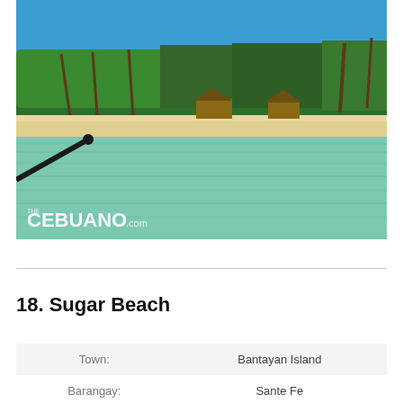[Figure (photo): Beach photo showing clear turquoise shallow water in the foreground, white sandy beach in the middle, and tropical trees and thatched-roof structures in the background under a bright blue sky. A boat outrigger is visible at the lower left. 'THE CEBUANO.com' watermark appears in the bottom left corner.]
18. Sugar Beach
| Label | Value |
| --- | --- |
| Town: | Bantayan Island |
| Barangay: | Sante Fe |